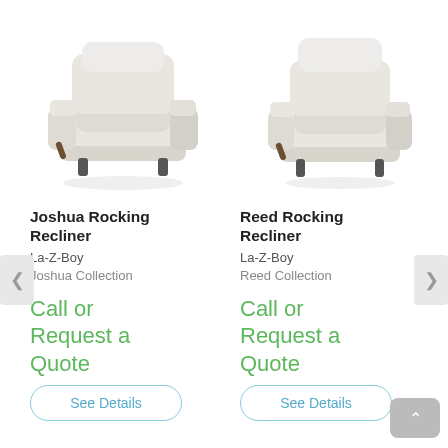[Figure (photo): Joshua Rocking Recliner – light gray/cream upholstered reclining chair with wooden handle lever, shown in slight 3/4 angle. La-Z-Boy brand.]
Joshua Rocking Recliner
La-Z-Boy
Joshua Collection
Call or Request a Quote
See Details
[Figure (photo): Reed Rocking Recliner – light gray/cream upholstered reclining chair with wooden handle lever, shown in slight 3/4 angle. La-Z-Boy brand.]
Reed Rocking Recliner
La-Z-Boy
Reed Collection
Call or Request a Quote
See Details